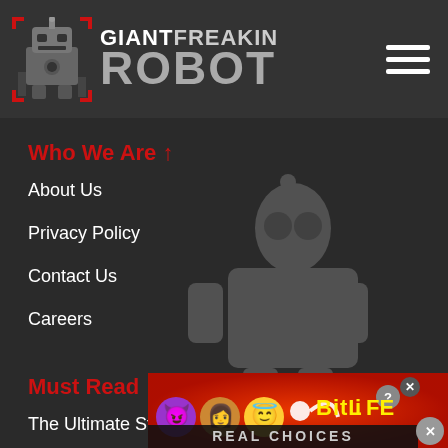GIANT FREAKIN ROBOT
Who We Are ↑
About Us
Privacy Policy
Contact Us
Careers
Must Read ↑
The Ultimate Star Trek Guide
The Definitive Marvel Movie Encyclopedia
Star Wars News
Dwayne Johnson News
Brie La…
[Figure (screenshot): BitLife REAL CHOICES advertisement banner with emoji characters (devil, woman, angel face) on a red background]